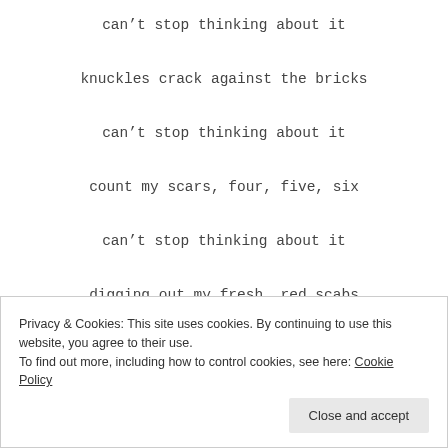can't stop thinking about it
knuckles crack against the bricks
can't stop thinking about it
count my scars, four, five, six
can't stop thinking about it
digging out my fresh, red scabs
Privacy & Cookies: This site uses cookies. By continuing to use this website, you agree to their use. To find out more, including how to control cookies, see here: Cookie Policy